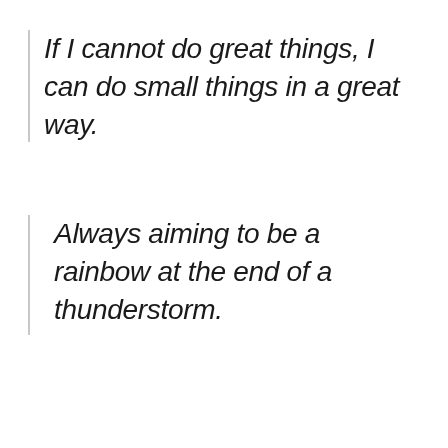If I cannot do great things, I can do small things in a great way.
Always aiming to be a rainbow at the end of a thunderstorm.